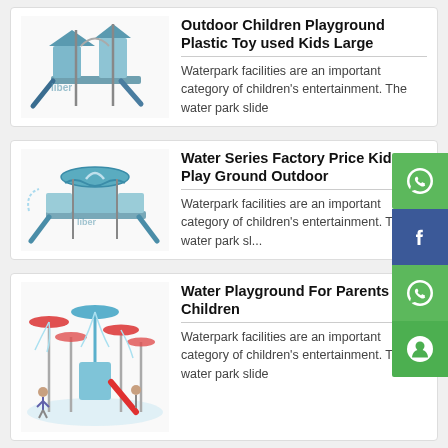[Figure (photo): Outdoor children's playground structure with slides, blue and grey colors, Liber branding]
Outdoor Children Playground Plastic Toy used Kids Large
Waterpark facilities are an important category of children's entertainment. The water park slide
[Figure (photo): Water series playground structure with blue aquatic theme, slides, and Liber branding]
Water Series Factory Price Kids Play Ground Outdoor
Waterpark facilities are an important category of children's entertainment. The water park sl...
[Figure (photo): Water playground structure for parents and children, with spray features, umbrellas and a red slide]
Water Playground For Parents And Children
Waterpark facilities are an important category of children's entertainment. The water park slide